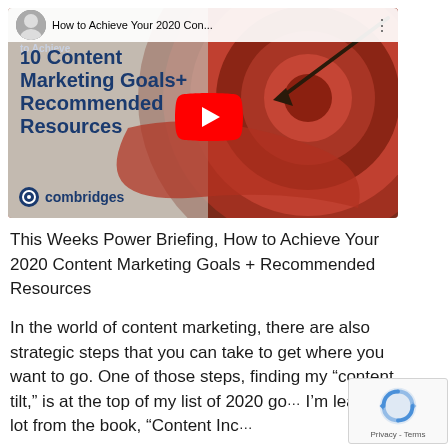[Figure (screenshot): YouTube video thumbnail for 'How to Achieve Your 2020 Content Marketing Goals + Recommended Resources' by combridges. Shows a target/bullseye graphic on the right, bold blue text on the left, a play button in the center, and a top bar with avatar and truncated video title.]
This Weeks Power Briefing, How to Achieve Your 2020 Content Marketing Goals + Recommended Resources
In the world of content marketing, there are also strategic steps that you can take to get where you want to go. One of those steps, finding my “content tilt,” is at the top of my list of 2020 go... I’m learning a lot from the book, “Content Inc...